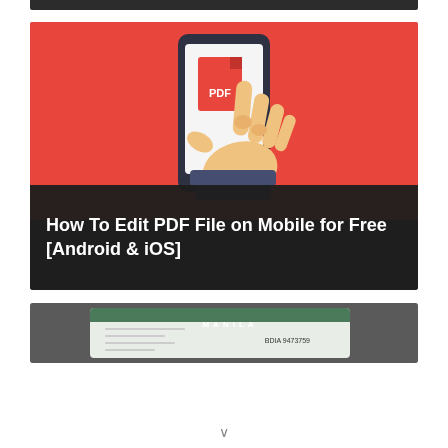[Figure (illustration): Dark top bar / navigation bar at top of page]
[Figure (illustration): Card with red background illustration of a hand holding a smartphone displaying a PDF file icon, with text overlay reading 'How To Edit PDF File on Mobile for Free [Android & iOS]']
How To Edit PDF File on Mobile for Free [Android & iOS]
[Figure (photo): Partially visible card image showing what appears to be a Philippine government document or ID card with text 'MANILA' and numbers '9473759' visible]